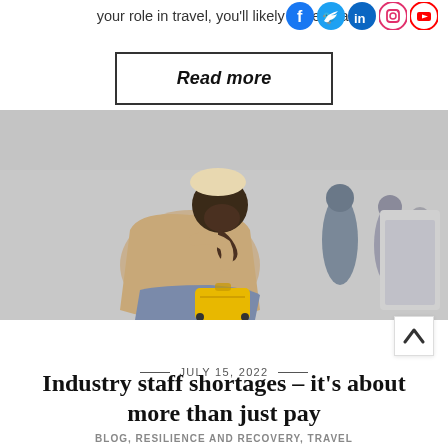your role in travel, you'll likely have heard
[Figure (other): Social media icons: Facebook, Twitter, LinkedIn, Instagram, YouTube]
Read more
[Figure (photo): A distressed traveler sitting and leaning forward with head down, holding luggage, in a busy airport setting with other masked passengers in the background.]
JULY 15, 2022
Industry staff shortages – it's about more than just pay
BLOG, RESILIENCE AND RECOVERY, TRAVEL